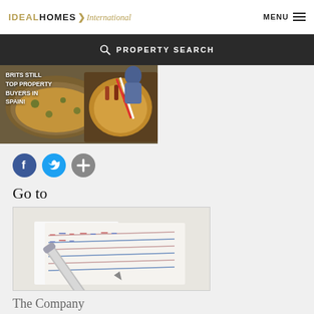IDEAL HOMES International
[Figure (screenshot): Property search bar with search icon and text PROPERTY SEARCH on dark background]
[Figure (photo): Image of Spanish food paella dishes with overlay text: BRITS STILL TOP PROPERTY BUYERS IN SPAIN!]
[Figure (infographic): Social media icons: Facebook (blue circle with F), Twitter (blue circle with bird), and a grey plus circle]
Go to
[Figure (photo): Photo of a silver pen resting on a calendar or planner with colorful markings]
The Company